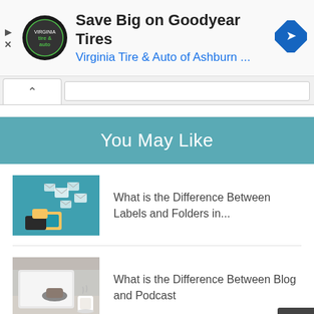[Figure (screenshot): Advertisement banner: Save Big on Goodyear Tires - Virginia Tire & Auto of Ashburn logo and text with blue arrow icon]
You May Like
[Figure (illustration): Thumbnail image showing hand with smartphone and flying email envelopes on teal background]
What is the Difference Between Labels and Folders in...
[Figure (photo): Thumbnail photo of person using tablet with coffee cup on desk]
What is the Difference Between Blog and Podcast
[Figure (photo): Partial thumbnail of third article, partially visible at bottom]